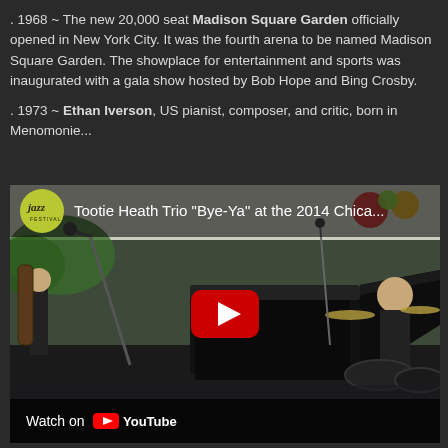. 1968 ~ The new 20,000 seat Madison Square Garden officially opened in New York City. It was the fourth arena to be named Madison Square Garden. The showplace for entertainment and sports was inaugurated with a gala show hosted by Bob Hope and Bing Crosby.
. 1973 ~ Ethan Iverson, US pianist, composer, and critic, born in Menomonie...
[Figure (screenshot): YouTube video embed showing Tootie Heath Trio 'Bye-Ya' at the 2014 Chicago Jazz Festival, with a jazz festival logo, play button, and 'Watch on YouTube' bar at the bottom.]